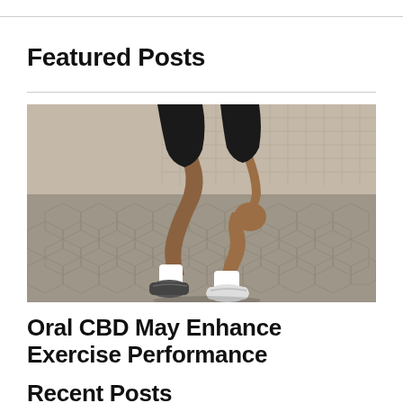Featured Posts
[Figure (photo): Close-up photo of a runner's legs mid-stride on hexagonal paver stones, wearing black shorts, white socks, and white sneakers. A wire fence is visible in the background.]
Oral CBD May Enhance Exercise Performance
Recent Posts